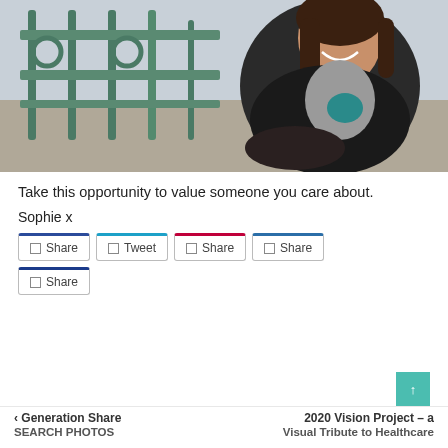[Figure (photo): A smiling woman with dark hair leaning on a teal/green ornamental railing, wearing a dark jacket over a grey hoodie]
Take this opportunity to value someone you care about.
Sophie x
Share  Tweet  Share  Share
Share
< Generation Share    2020 Vision Project – a Visual Tribute to Healthcare